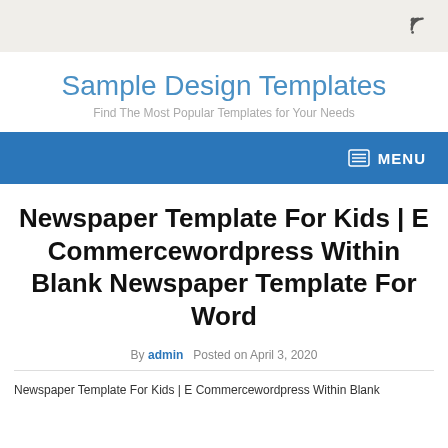RSS icon / top bar
Sample Design Templates
Find The Most Popular Templates for Your Needs
MENU
Newspaper Template For Kids | E Commercewordpress Within Blank Newspaper Template For Word
By admin   Posted on April 3, 2020
Newspaper Template For Kids | E Commercewordpress Within Blank